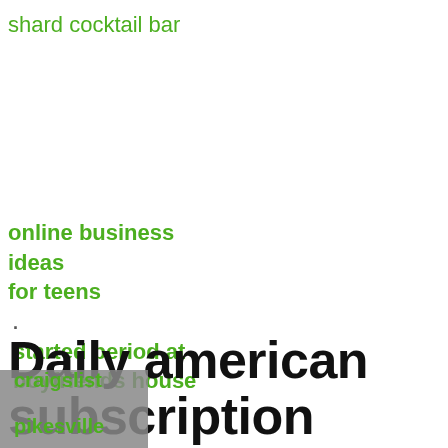shard cocktail bar
online business ideas for teens
started period at boyfriends house
Daily american subscription
Oprah Daily is dedicated to helping people live their best lives, delivering you the latest in beauty, wellness, culture, news, and more. ... About Us Contact Us Subscribe Customer Service Newsletter Press Room Give a Gift Being
craigslist
pikesville